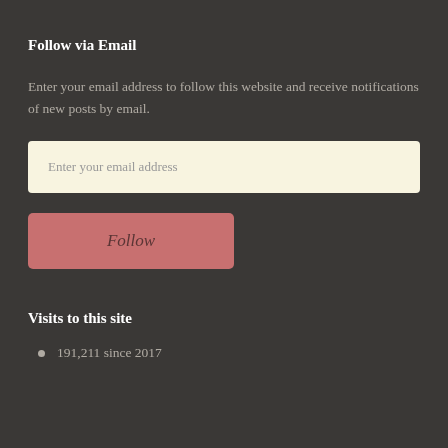Follow via Email
Enter your email address to follow this website and receive notifications of new posts by email.
Enter your email address
Follow
Visits to this site
191,211 since 2017